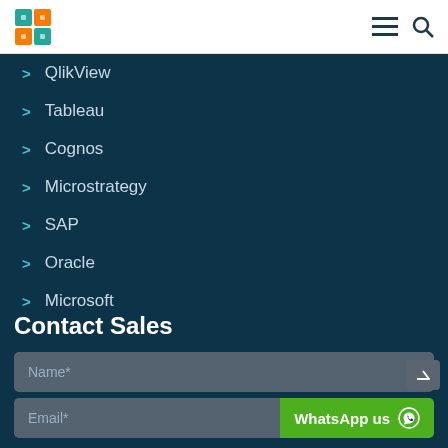Logo and navigation icons
QlikView
Tableau
Cognos
Microstrategy
SAP
Oracle
Microsoft
Contact Sales
Name*
Email*
WhatsApp us